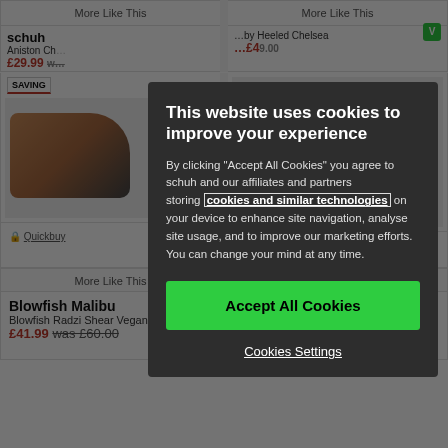[Figure (screenshot): E-commerce shoe website background with product listings for schuh, Blowfish Malibu, and Dr Martens shoes, partially obscured by a cookie consent modal overlay]
This website uses cookies to improve your experience
By clicking "Accept All Cookies" you agree to schuh and our affiliates and partners storing cookies and similar technologies on your device to enhance site navigation, analyse site usage, and to improve our marketing efforts. You can change your mind at any time.
Accept All Cookies
Cookies Settings